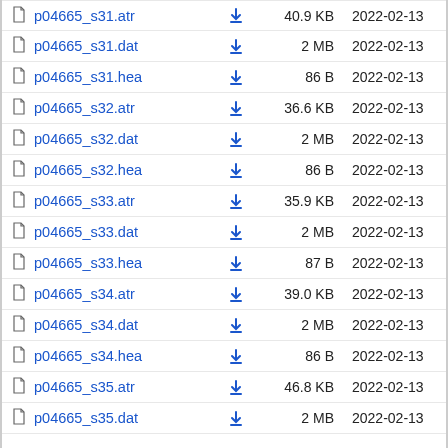| Name |  | Size | Date |
| --- | --- | --- | --- |
| p04665_s31.atr | ↓ | 40.9 KB | 2022-02-13 |
| p04665_s31.dat | ↓ | 2 MB | 2022-02-13 |
| p04665_s31.hea | ↓ | 86 B | 2022-02-13 |
| p04665_s32.atr | ↓ | 36.6 KB | 2022-02-13 |
| p04665_s32.dat | ↓ | 2 MB | 2022-02-13 |
| p04665_s32.hea | ↓ | 86 B | 2022-02-13 |
| p04665_s33.atr | ↓ | 35.9 KB | 2022-02-13 |
| p04665_s33.dat | ↓ | 2 MB | 2022-02-13 |
| p04665_s33.hea | ↓ | 87 B | 2022-02-13 |
| p04665_s34.atr | ↓ | 39.0 KB | 2022-02-13 |
| p04665_s34.dat | ↓ | 2 MB | 2022-02-13 |
| p04665_s34.hea | ↓ | 86 B | 2022-02-13 |
| p04665_s35.atr | ↓ | 46.8 KB | 2022-02-13 |
| p04665_s35.dat | ↓ | 2 MB | 2022-02-13 |